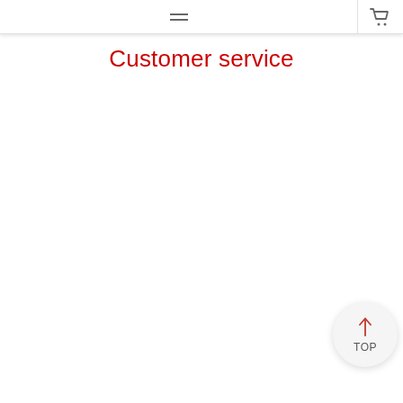[Navigation bar with menu icon and cart icon]
Customer service
[Figure (other): A circular 'TOP' scroll-to-top button in the bottom-right corner, with an upward arrow in red and the label 'TOP' in gray beneath it.]